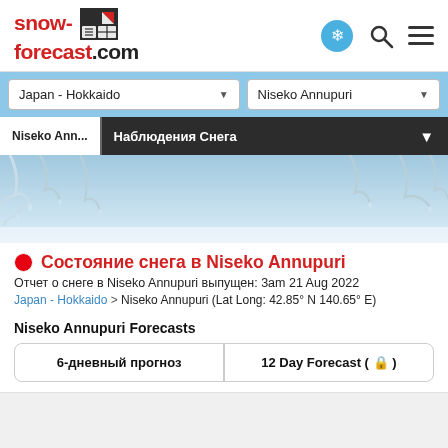[Figure (logo): snow-forecast.com logo with red text and snowflake icon, plus navigation icons (chat bubble with snowflake, search, menu)]
Japan - Hokkaido
Niseko Annupuri
Niseko Ann... | Наблюдения Снега
[Figure (photo): Winter scene with snow-covered tree branches against a light blue sky]
Состояние снега в Niseko Annupuri
Отчет о снеге в Niseko Annupuri выпущен: 3am 21 Aug 2022
Japan - Hokkaido > Niseko Annupuri (Lat Long: 42.85° N 140.65° E)
Niseko Annupuri Forecasts
6-дневный прогноз | 12 Day Forecast (🔒)